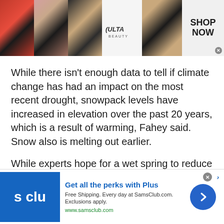[Figure (screenshot): Ulta Beauty advertisement banner showing makeup product images (red lips, makeup brush, eye makeup) and the Ulta Beauty logo with SHOP NOW call to action]
While there isn't enough data to tell if climate change has had an impact on the most recent drought, snowpack levels have increased in elevation over the past 20 years, which is a result of warming, Fahey said. Snow also is melting out earlier.
While experts hope for a wet spring to reduce risk during the upcoming fire season, the only way to find out if the drought will continue is to watch
[Figure (screenshot): Sam's Club advertisement showing S Club logo, 'Get all the perks with Plus' headline, 'Free Shipping. Every day at SamsClub.com. Exclusions apply.' and www.samsclub.com URL, with a blue circle arrow button]